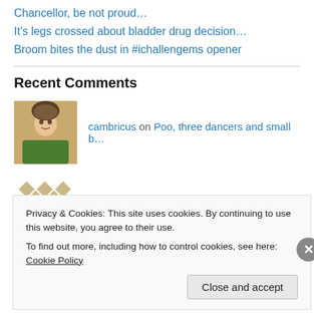Chancellor, be not proud…
It's legs crossed about bladder drug decision…
Broom bites the dust in #ichallengems opener
Recent Comments
cambricus on Poo, three dancers and small b…
Jill Hopper on Poo, three dancers and small b…
Review 27: Concerns… on Review 18: You make loving fun
Privacy & Cookies: This site uses cookies. By continuing to use this website, you agree to their use.
To find out more, including how to control cookies, see here: Cookie Policy